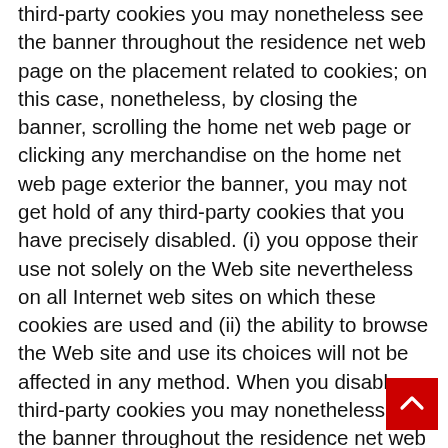third-party cookies you may nonetheless see the banner throughout the residence net web page on the placement related to cookies; on this case, nonetheless, by closing the banner, scrolling the home net web page or clicking any merchandise on the home net web page exterior the banner, you may not get hold of any third-party cookies that you have precisely disabled. (i) you oppose their use not solely on the Web site nevertheless on all Internet web sites on which these cookies are used and (ii) the ability to browse the Web site and use its choices will not be affected in any method. When you disable third-party cookies you may nonetheless see the banner throughout the residence net web page on the placement related to cookies; on this case, nonetheless, by closing the banner, scrolling the home net web page or clicking any merchandise on the home net web page exterior the banner, you may not get hold of any third-party cookies that you have